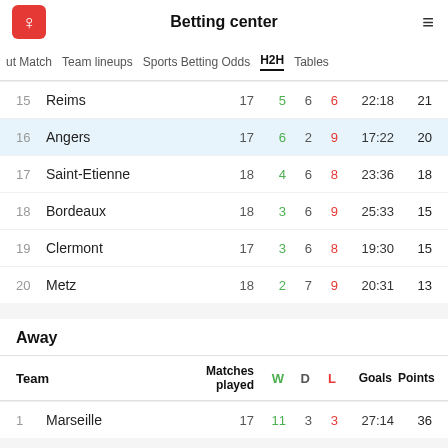Betting center
ut Match  Team lineups  Sports Betting Odds  H2H  Tables
|  | Team | Matches played | W | D | L | Goals | Points |
| --- | --- | --- | --- | --- | --- | --- | --- |
| 15 | Reims | 17 | 5 | 6 | 6 | 22:18 | 21 |
| 16 | Angers | 17 | 6 | 2 | 9 | 17:22 | 20 |
| 17 | Saint-Etienne | 18 | 4 | 6 | 8 | 23:36 | 18 |
| 18 | Bordeaux | 18 | 3 | 6 | 9 | 25:33 | 15 |
| 19 | Clermont | 17 | 3 | 6 | 8 | 19:30 | 15 |
| 20 | Metz | 18 | 2 | 7 | 9 | 20:31 | 13 |
Away
| Team | Matches played | W | D | L | Goals | Points |
| --- | --- | --- | --- | --- | --- | --- |
| 1 | Marseille | 17 | 11 | 3 | 3 | 27:14 | 36 |